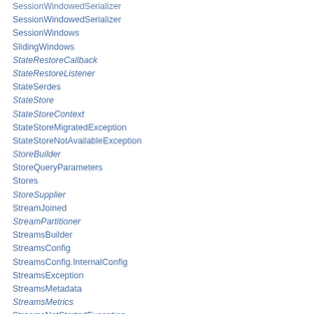SessionWindowedSerializer
SessionWindows
SlidingWindows
StateRestoreCallback
StateRestoreListener
StateSerdes
StateStore
StateStoreContext
StateStoreMigratedException
StateStoreNotAvailableException
StoreBuilder
StoreQueryParameters
Stores
StoreSupplier
StreamJoined
StreamPartitioner
StreamsBuilder
StreamsConfig
StreamsConfig.InternalConfig
StreamsException
StreamsMetadata
StreamsMetrics
StreamsNotStartedException
StreamsRebalancingException
StreamsUncaughtExceptionHandler
StreamsUncaughtExceptionHandler.StreamThreadExceptionResponse
Suppressed
Suppressed.BufferConfig